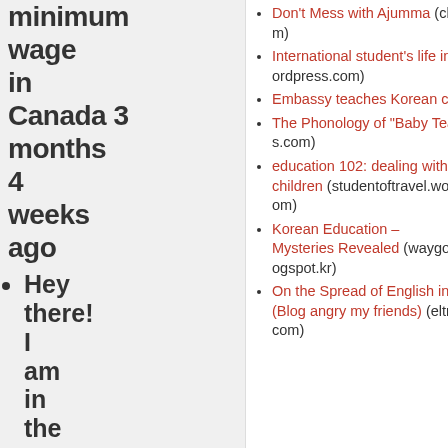minimum wage in Canada 3 months 4 weeks ago
Hey there! I am in the exact 7 months 1 week ago
Don't Mess with Ajumma (chrissantosra.wordpress.com)
International student's life in Korea (letshareexperiencetogether.wordpress.com)
Embassy teaches Korean culture, language (fijitimes.com)
The Phonology of "Baby Teacher" (greenwalledtower.wordpress.com)
education 102: dealing with exhausting children (studentoftravel.wordpress.com)
Korean Education – Mysteries Revealed (waygookboon.blogspot.kr)
On the Spread of English in Korea (Blog angry my friends) (eltrantsreviewsreflections.wordpress.com)
Noti unusu
Wha typhoc
Vote
Older polls Results
Tweets fr